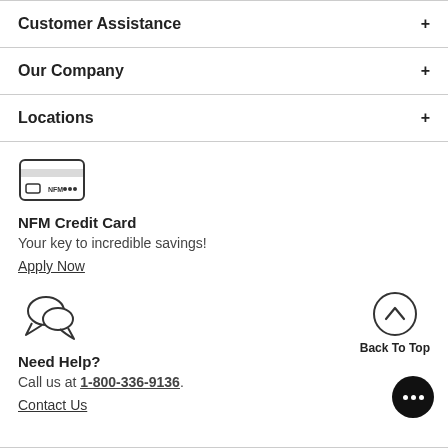Customer Assistance
Our Company
Locations
[Figure (illustration): Credit card icon with NFM text and chip]
NFM Credit Card
Your key to incredible savings!
Apply Now
[Figure (illustration): Two speech bubble chat icons]
Need Help?
Call us at 1-800-336-9136.
Contact Us
[Figure (illustration): Back to top button with upward chevron circle and label Back To Top]
[Figure (illustration): Black circular chat button with three dots]